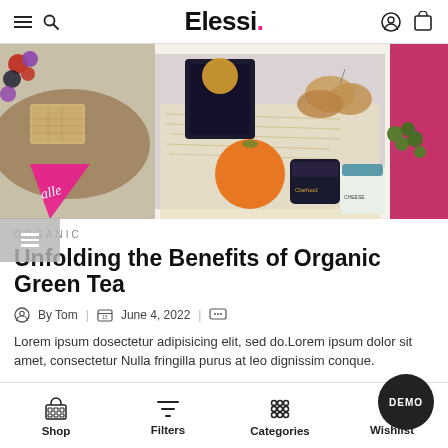Elessi.
[Figure (photo): Overhead photo of a gift box with organic food items including crackers, cookies, an orange, jars of jam and other gourmet foods on straw packing, with a pink gift box visible.]
ORGANIC
Unfolding the Benefits of Organic Green Tea
By Tom   |   June 4, 2022   |   [comment icon]
Lorem ipsum dosectetur adipisicing elit, sed do.Lorem ipsum dolor sit amet, consectetur Nulla fringilla purus at leo dignissim conque.
Shop   Filters   Categories   Wishlist